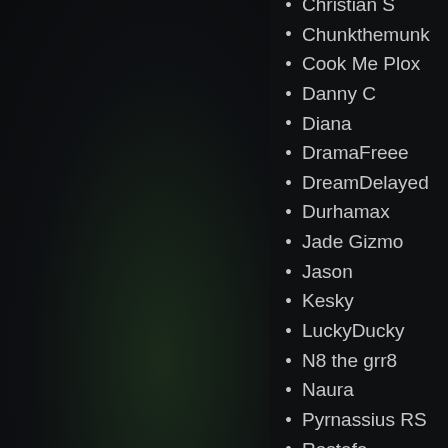Christian S
Chunkthemunk
Cook Me Plox
Danny C
Diana
DramaFreee
DreamDelayed
Durhamax
Jade Gizmo
Jason
Kesky
LuckyDucky
N8 the grr8
Naura
Pyrnassius RS
Rastafa
Ren H
Ricky A
Samuel F L